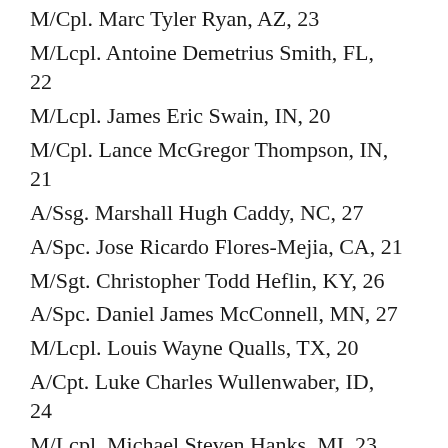M/Cpl. Marc Tyler Ryan, AZ, 23
M/Lcpl. Antoine Demetrius Smith, FL, 22
M/Lcpl. James Eric Swain, IN, 20
M/Cpl. Lance McGregor Thompson, IN, 21
A/Ssg. Marshall Hugh Caddy, NC, 27
A/Spc. Jose Ricardo Flores-Mejia, CA, 21
M/Sgt. Christopher Todd Heflin, KY, 26
A/Spc. Daniel James McConnell, MN, 27
M/Lcpl. Louis Wayne Qualls, TX, 20
A/Cpt. Luke Charles Wullenwaber, ID, 24
M/Lcpl. Michael Steven Hanks, MI, 23